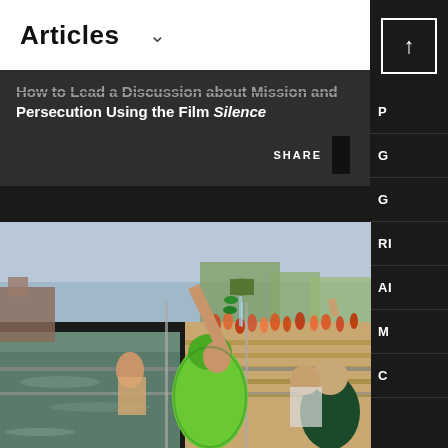Articles
How to Lead a Discussion about Mission and Persecution Using the Film Silence
SHARE
[Figure (photo): Hindu woman in a green sari pouring water from a vessel at a riverside ghat during a religious ceremony, with other pilgrims bathing and praying in the background]